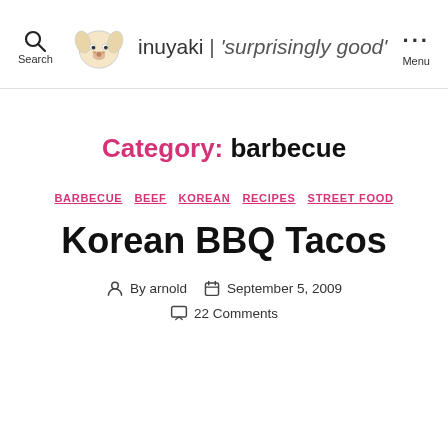inuyaki | 'surprisingly good'
Category: barbecue
BARBECUE  BEEF  KOREAN  RECIPES  STREET FOOD
Korean BBQ Tacos
By arnold  September 5, 2009  22 Comments